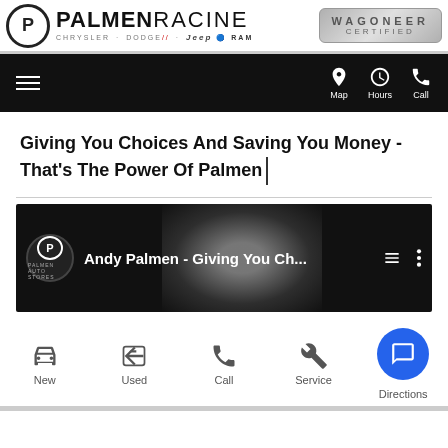[Figure (logo): Palmen Racine dealership logo with Chrysler, Dodge, Jeep, Ram brand logos and Wagoneer Certified badge]
Navigation bar with hamburger menu, Map, Hours, Call icons
Giving You Choices And Saving You Money - That's The Power Of Palmen
[Figure (screenshot): YouTube video thumbnail showing Andy Palmen - Giving You Ch... with Palmen Auto Stores logo and a person's face]
New | Used | Call | Service | Directions